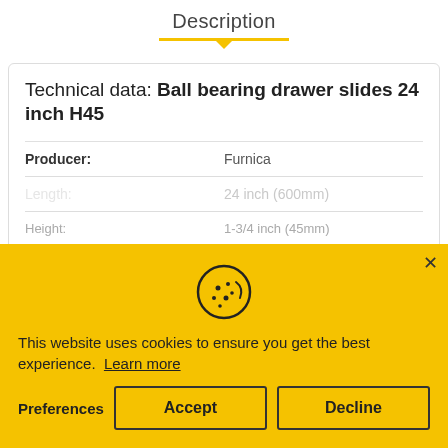Description
Technical data: Ball bearing drawer slides 24 inch H45
| Property | Value |
| --- | --- |
| Producer: | Furnica |
| Length: | 24 inch (600mm) |
| Height: | 1-3/4 inch (45mm) |
| Material Thickness: | 0.8/1.0/1.2mm |
| Max Weight: | (partially visible) |
| Additional Mechanism: | Rubber brake |
This website uses cookies to ensure you get the best experience. Learn more
Preferences
Accept
Decline